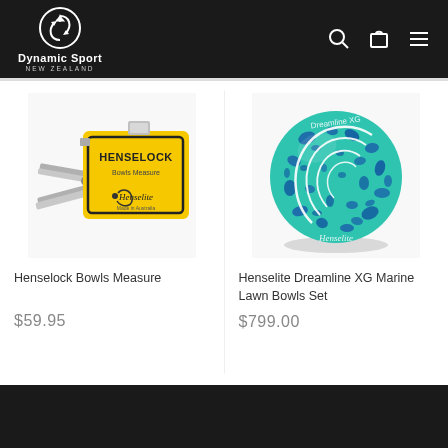Dynamic Sport New Zealand — navigation header with search, cart, and menu icons
[Figure (photo): Henselock Bowls Measure — yellow plastic measuring tape device with metal jaws/calipers, labeled HENSELOCK Bowls Measure, Henselite, Made in Australia]
Henselock Bowls Measure
$59.95
[Figure (photo): Henselite Dreamline XG Marine Lawn Bowls Set — teal/turquoise speckled lawn bowl with blue flecks, featuring white Henselite logo and Dreamline XG branding]
Henselite Dreamline XG Marine Lawn Bowls Set
$799.00